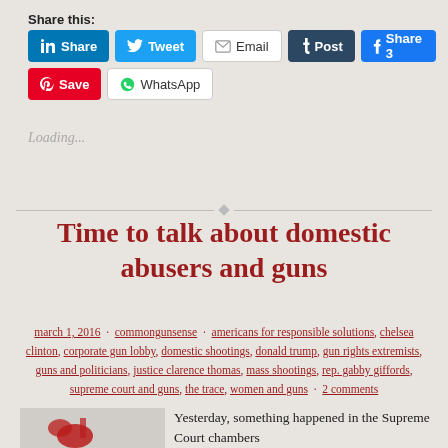Share this:
[Figure (infographic): Social share buttons: LinkedIn Share, Twitter Tweet, Email, Tumblr Post, Facebook Share 3, Pinterest Save, WhatsApp]
Loading...
Time to talk about domestic abusers and guns
march 1, 2016 · commongunsense · americans for responsible solutions, chelsea clinton, corporate gun lobby, domestic shootings, donald trump, gun rights extremists, guns and politicians, justice clarence thomas, mass shootings, rep. gabby giffords, supreme court and guns, the trace, women and guns · 2 comments
Yesterday, something happened in the Supreme Court chambers